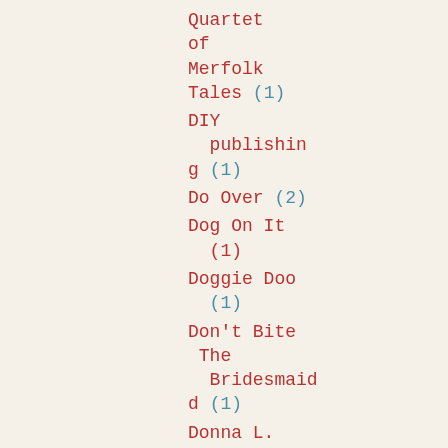Quartet of Merfolk Tales (1)
DIY publishing (1)
Do Over (2)
Dog On It (1)
Doggie Doo (1)
Don't Bite The Bridesmaid (1)
Donna L. Saad (1)